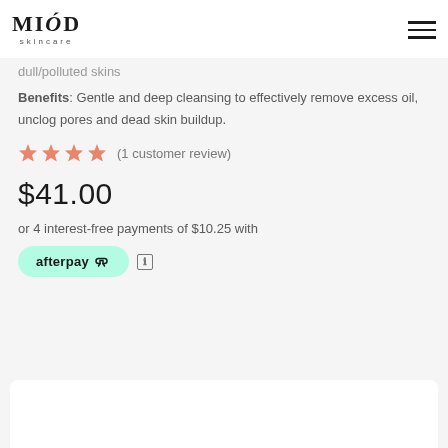MIÓD skincare
dull/polluted skins
Benefits: Gentle and deep cleansing to effectively remove excess oil, unclog pores and dead skin buildup.
★★★★ (1 customer review)
$41.00
or 4 interest-free payments of $10.25 with
[Figure (logo): Afterpay logo badge - teal/mint rounded pill button with afterpay text and chain link icon]